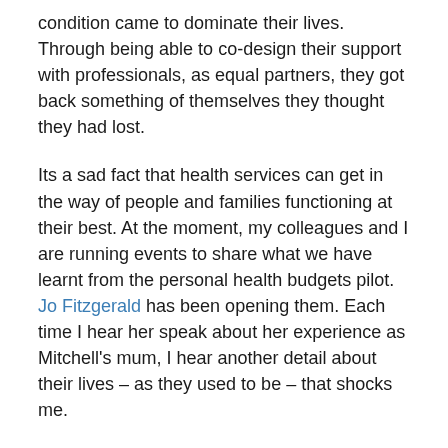condition came to dominate their lives. Through being able to co-design their support with professionals, as equal partners, they got back something of themselves they thought they had lost.
Its a sad fact that health services can get in the way of people and families functioning at their best. At the moment, my colleagues and I are running events to share what we have learnt from the personal health budgets pilot. Jo Fitzgerald has been opening them. Each time I hear her speak about her experience as Mitchell's mum, I hear another detail about their lives – as they used to be – that shocks me.
With round the clock support necessary for Mitchell, the intrusion on the family's lives can only be imagined by those of us who have not experienced it. The rhythm of